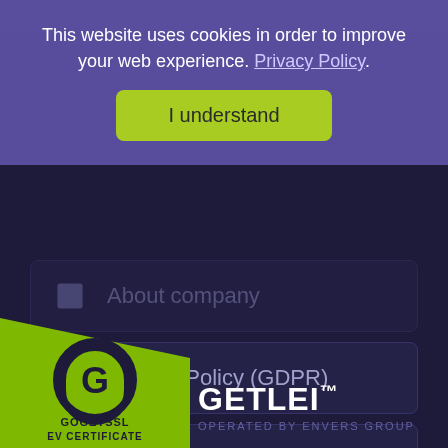This website uses cookies in order to improve your web experience. Privacy Policy.
I understand
About company
Privacy Policy (GDPR)
Terms and Conditions
[Figure (logo): GoGetSSL EV Certificate badge — green shield/lock logo with text GOGETSSL EV CERTIFICATE]
GETLEI™
OPERATED BY ENVERS GROUP